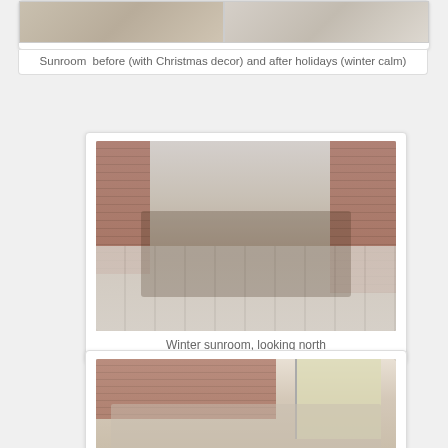[Figure (photo): Split photo showing sunroom before with Christmas decor and after holidays in winter calm (partially cropped at top of page)]
Sunroom  before (with Christmas decor) and after holidays (winter calm)
[Figure (photo): Interior photo of winter sunroom looking north, showing tile floor, wrought iron furniture with glass table, brick walls, and sliding glass doors]
Winter sunroom, looking north
[Figure (photo): Interior photo of sunroom showing seating area with white cushioned furniture, wrought iron pieces, brick wall, and large windows (partially cropped at bottom)]